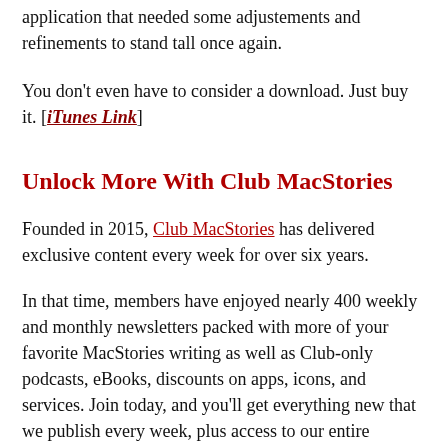application that needed some adjustements and refinements to stand tall once again.
You don't even have to consider a download. Just buy it. [iTunes Link]
Unlock More With Club MacStories
Founded in 2015, Club MacStories has delivered exclusive content every week for over six years.
In that time, members have enjoyed nearly 400 weekly and monthly newsletters packed with more of your favorite MacStories writing as well as Club-only podcasts, eBooks, discounts on apps, icons, and services. Join today, and you'll get everything new that we publish every week, plus access to our entire archive of back issues